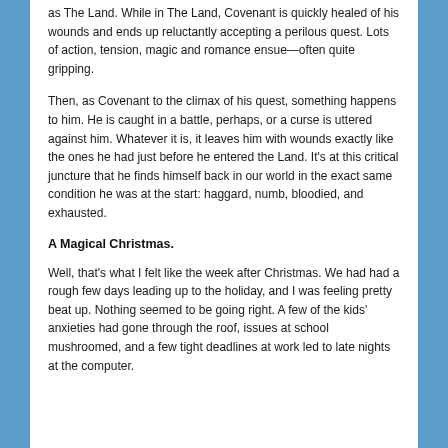as The Land. While in The Land, Covenant is quickly healed of his wounds and ends up reluctantly accepting a perilous quest. Lots of action, tension, magic and romance ensue—often quite gripping.
Then, as Covenant to the climax of his quest, something happens to him. He is caught in a battle, perhaps, or a curse is uttered against him. Whatever it is, it leaves him with wounds exactly like the ones he had just before he entered the Land. It's at this critical juncture that he finds himself back in our world in the exact same condition he was at the start: haggard, numb, bloodied, and exhausted.
A Magical Christmas.
Well, that's what I felt like the week after Christmas. We had had a rough few days leading up to the holiday, and I was feeling pretty beat up. Nothing seemed to be going right. A few of the kids' anxieties had gone through the roof, issues at school mushroomed, and a few tight deadlines at work led to late nights at the computer.